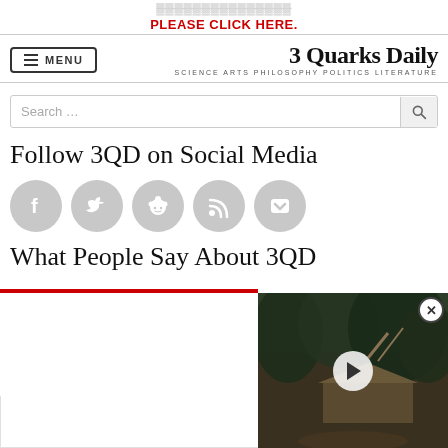PLEASE CLICK HERE.
[Figure (logo): 3 Quarks Daily logo with tagline SCIENCE ARTS PHILOSOPHY POLITICS LITERATURE and a MENU button]
[Figure (screenshot): Search bar with placeholder text 'Search ...' and a magnifying glass button]
Follow 3QD on Social Media
[Figure (infographic): Five grey circular social media icons: Facebook, Twitter, Reddit, RSS, Pocket]
What People Say About 3QD
[Figure (photo): Video overlay thumbnail showing a forest/jungle hut scene with a play button, and an X close button]